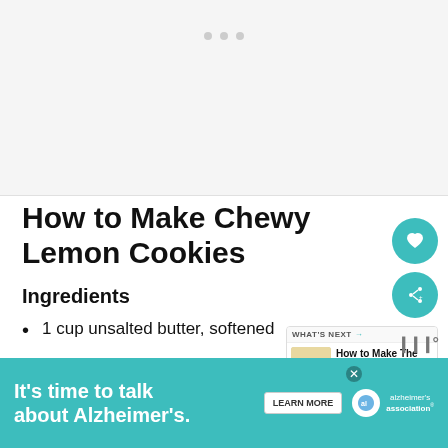[Figure (photo): Image placeholder area at the top of the page, light gray background]
How to Make Chewy Lemon Cookies
Ingredients
1 cup unsalted butter, softened
white sugar
[Figure (infographic): Advertisement banner: It's time to talk about Alzheimer's. LEARN MORE. Alzheimer's Association logo.]